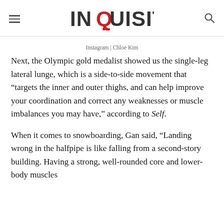INQUISITR
Instagram | Chloe Kim
Next, the Olympic gold medalist showed us the single-leg lateral lunge, which is a side-to-side movement that “targets the inner and outer thighs, and can help improve your coordination and correct any weaknesses or muscle imbalances you may have,” according to Self.
When it comes to snowboarding, Gan said, “Landing wrong in the halfpipe is like falling from a second-story building. Having a strong, well-rounded core and lower-body muscles